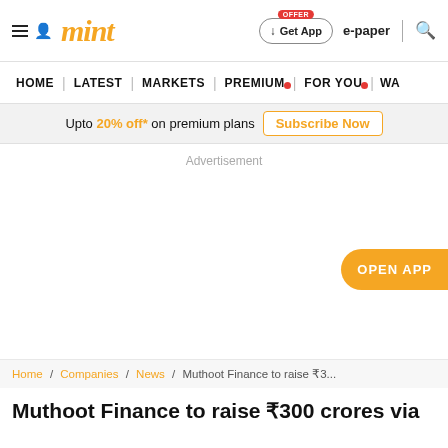mint
HOME | LATEST | MARKETS | PREMIUM | FOR YOU | WA
Upto 20% off* on premium plans  Subscribe Now
Advertisement
OPEN APP
Home / Companies / News / Muthoot Finance to raise ₹3...
Muthoot Finance to raise ₹300 crores via